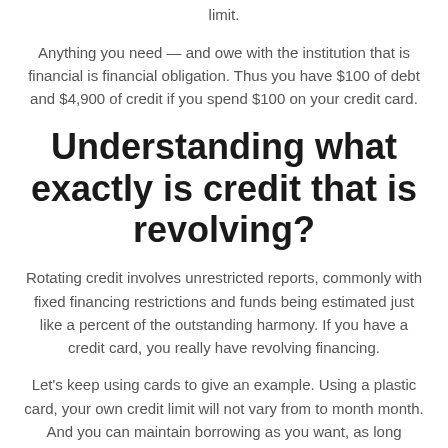limit.
Anything you need — and owe with the institution that is financial is financial obligation. Thus you have $100 of debt and $4,900 of credit if you spend $100 on your credit card.
Understanding what exactly is credit that is revolving?
Rotating credit involves unrestricted reports, commonly with fixed financing restrictions and funds being estimated just like a percent of the outstanding harmony. If you have a credit card, you really have revolving financing.
Let's keep using cards to give an example. Using a plastic card, your own credit limit will not vary from to month month. And you can maintain borrowing as you want, as long